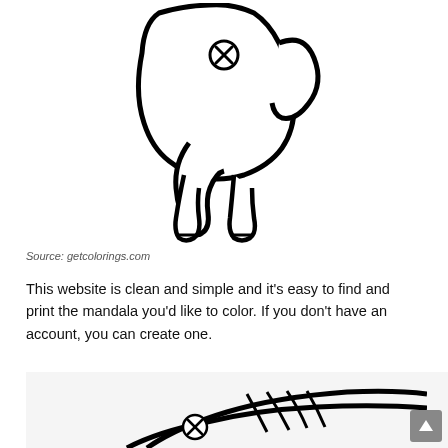[Figure (illustration): Cartoon line-art drawing of a cute elephant (lower half visible) with an X-marked eye, trunk hanging down, and legs/feet at the bottom. Black outline on white background, coloring page style.]
Source: getcolorings.com
This website is clean and simple and it's easy to find and print the mandala you'd like to color. If you don't have an account, you can create one.
[Figure (illustration): Cartoon line-art drawing of a fish (partially visible, cropped) with an X-marked eye and detailed fin lines. Black outline on light gray background, coloring page style.]